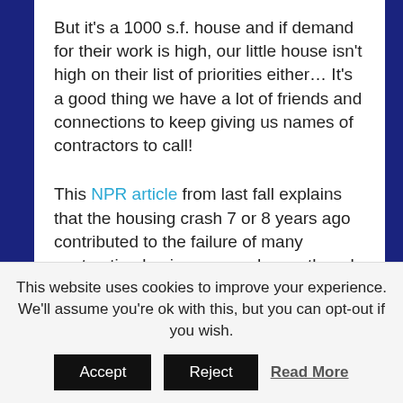But it's a 1000 s.f. house and if demand for their work is high, our little house isn't high on their list of priorities either… It's a good thing we have a lot of friends and connections to keep giving us names of contractors to call!
This NPR article from last fall explains that the housing crash 7 or 8 years ago contributed to the failure of many contracting businesses and even though there is a lot of work now, there just aren't the numbers of skilled tradespeople or contractors available to fill the construction or home renovation needs in most areas.
This website uses cookies to improve your experience. We'll assume you're ok with this, but you can opt-out if you wish. Accept Reject Read More